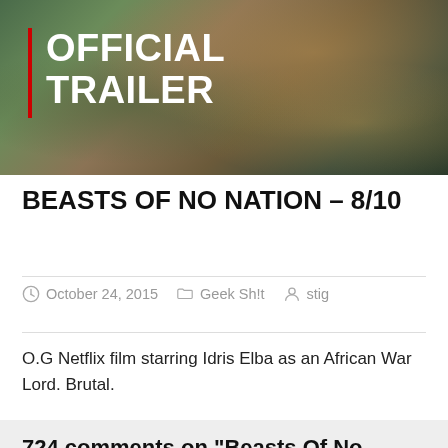[Figure (photo): Dark cinematic movie still image with foliage and textures in background, with 'OFFICIAL TRAILER' text overlay and red vertical bar accent]
BEASTS OF NO NATION – 8/10
October 24, 2015   Geek Sh!t   stig
O.G Netflix film starring Idris Elba as an African War Lord. Brutal.
724 comments on “Beasts Of No Nation – 8/10”
Add yours →